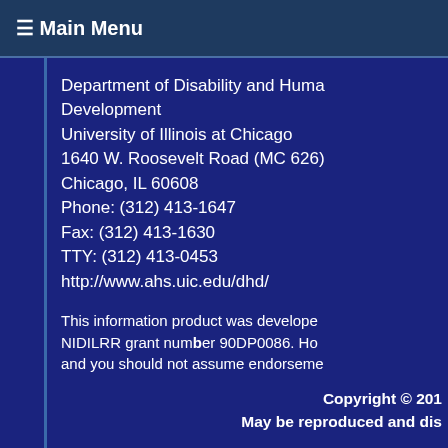☰ Main Menu
Department of Disability and Human Development
University of Illinois at Chicago
1640 W. Roosevelt Road (MC 626)
Chicago, IL 60608
Phone: (312) 413-1647
Fax: (312) 413-1630
TTY: (312) 413-0453
http://www.ahs.uic.edu/dhd/
This information product was developed with NIDILRR grant number 90DP0086. However, and you should not assume endorsement...
Copyright © 2017
May be reproduced and distributed...